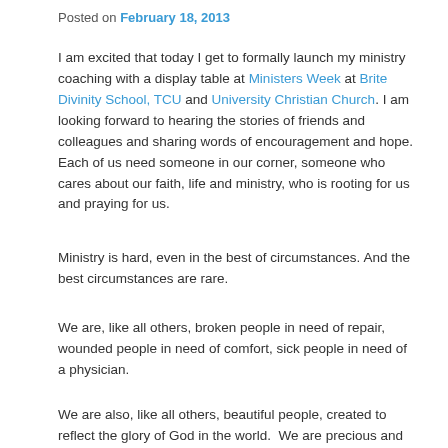Posted on February 18, 2013
I am excited that today I get to formally launch my ministry coaching with a display table at Ministers Week at Brite Divinity School, TCU and University Christian Church. I am looking forward to hearing the stories of friends and colleagues and sharing words of encouragement and hope. Each of us need someone in our corner, someone who cares about our faith, life and ministry, who is rooting for us and praying for us.
Ministry is hard, even in the best of circumstances. And the best circumstances are rare.
We are, like all others, broken people in need of repair, wounded people in need of comfort, sick people in need of a physician.
We are also, like all others, beautiful people, created to reflect the glory of God in the world.  We are precious and good and worthy of being loved.
We have the in-breathed Spirit of God…